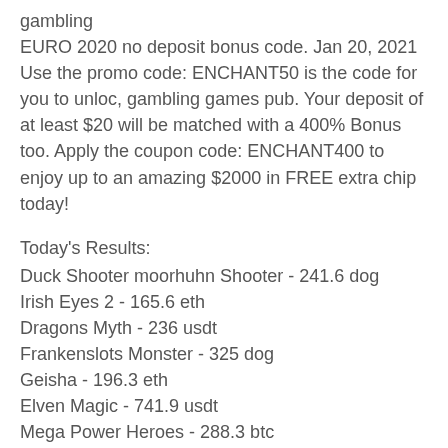gambling
EURO 2020 no deposit bonus code. Jan 20, 2021 Use the promo code: ENCHANT50 is the code for you to unloc, gambling games pub. Your deposit of at least $20 will be matched with a 400% Bonus too. Apply the coupon code: ENCHANT400 to enjoy up to an amazing $2000 in FREE extra chip today!
Today's Results:
Duck Shooter moorhuhn Shooter - 241.6 dog
Irish Eyes 2 - 165.6 eth
Dragons Myth - 236 usdt
Frankenslots Monster - 325 dog
Geisha - 196.3 eth
Elven Magic - 741.9 usdt
Mega Power Heroes - 288.3 btc
7 monkeys - 663 ltc
Anotherland - 153.1 btc
Mad Scientist - 738.3 btc
Maniac House - 120.5 dog